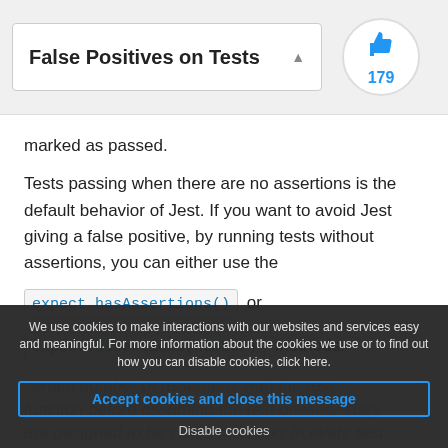False Positives on Tests
marked as passed.
Tests passing when there are no assertions is the default behavior of Jest. If you want to avoid Jest giving a false positive, by running tests without assertions, you can either use the expect.hasAssertions() or expect.assertions(number) methods.
We use cookies to make interactions with our websites and services easy and meaningful. For more information about the cookies we use or to find out how you can disable cookies, click here.
Accept cookies and close this message
Disable cookies